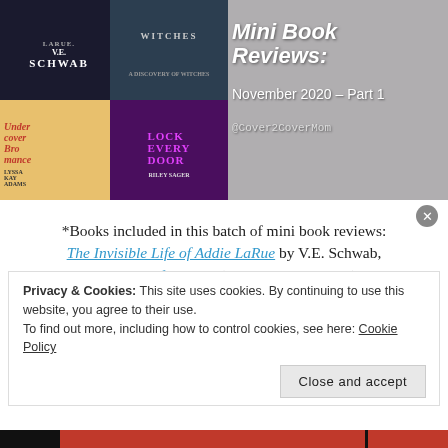[Figure (illustration): Blog banner image with four book covers on the left (The Invisible Life of Addie LaRue by V.E. Schwab, A Discovery of Witches, Undercover Bromance, Lock Every Door by Riley Sager) on a gray wood background, with title 'Mini Book Reviews: November 2020 – Part 1' and handle '@Cover2CoverMom' on the right side.]
*Books included in this batch of mini book reviews: The Invisible Life of Addie LaRue by V.E. Schwab, A Discovery of Witches (All Souls Trilogy #1) by Deborah Harkness, Undercover Bromance (Bromance Bookclub #2) by Lyssa Kay Adams, and
Privacy & Cookies: This site uses cookies. By continuing to use this website, you agree to their use.
To find out more, including how to control cookies, see here: Cookie Policy
Close and accept